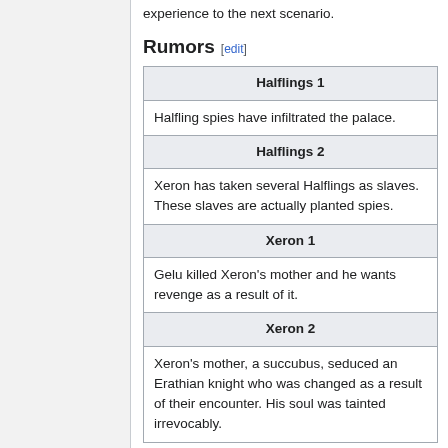experience to the next scenario.
Rumors [edit]
| Halflings 1 |
| Halfling spies have infiltrated the palace. |
| Halflings 2 |
| Xeron has taken several Halflings as slaves. These slaves are actually planted spies. |
| Xeron 1 |
| Gelu killed Xeron's mother and he wants revenge as a result of it. |
| Xeron 2 |
| Xeron's mother, a succubus, seduced an Erathian knight who was changed as a result of their encounter. His soul was tainted irrevocably. |